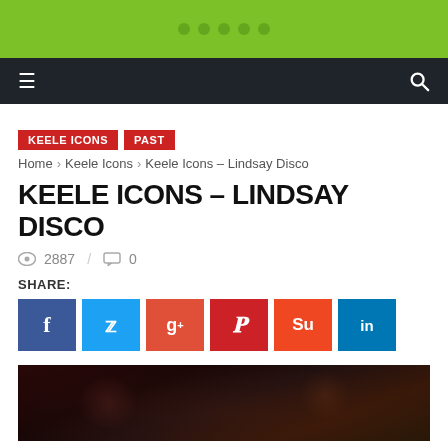[Figure (screenshot): Green website header bar with logo dots]
Navigation bar with hamburger menu and search icon
KEELE ICONS
PAST
Home › Keele Icons › Keele Icons – Lindsay Disco
KEELE ICONS – LINDSAY DISCO
2887 / 0
SHARE:
[Figure (screenshot): Social share buttons: Facebook, Twitter, Google+, Pinterest, StumbleUpon, LinkedIn]
[Figure (photo): Dark nightclub or disco photo with performer and colorful lights]